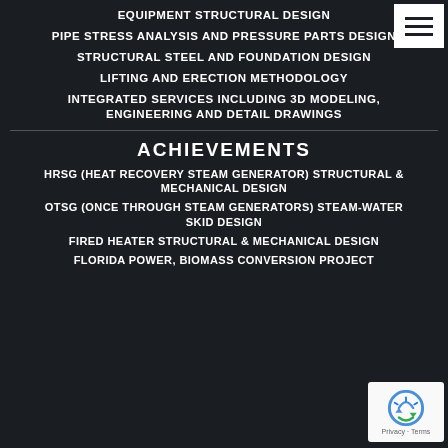EQUIPMENT STRUCTURAL DESIGN
PIPE STRESS ANALYSIS AND PRESSURE PARTS DESIGN
STRUCTURAL STEEL AND FOUNDATION DESIGN
LIFTING AND ERECTION METHODOLOGY
INTEGRATED SERVICES INCLUDING 3D MODELING, ENGINEERING AND DETAIL DRAWINGS
ACHIEVEMENTS
HRSG (HEAT RECOVERY STEAM GENERATOR) STRUCTURAL & MECHANICAL DESIGN
OTSG (ONCE THROUGH STEAM GENERATORS) STEAM-WATER SKID DESIGN
FIRED HEATER STRUCTURAL & MECHANICAL DESIGN
FLORIDA POWER, BIOMASS CONVERSION PROJECT